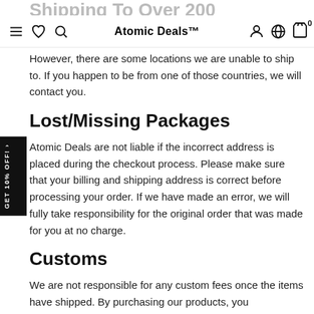Shipping To Over 200 Countries
Atomic Deals™ [navigation bar]
We are proud to offer international shipping across...
However, there are some locations we are unable to ship to. If you happen to be from one of those countries, we will contact you.
Lost/Missing Packages
Atomic Deals are not liable if the incorrect address is placed during the checkout process. Please make sure that your billing and shipping address is correct before processing your order. If we have made an error, we will fully take responsibility for the original order that was made for you at no charge.
Customs
We are not responsible for any custom fees once the items have shipped. By purchasing our products, you